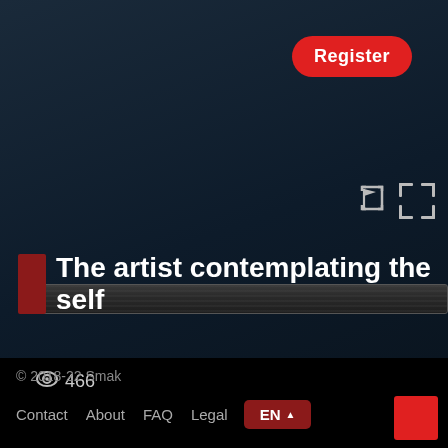[Figure (screenshot): Dark blue/navy background of a website page with a video player bar area]
Register
[Figure (other): Horizontal video scrubber/progress bar with dark gray gradient and horizontal line texture]
466
The artist contemplating the self
© 2018-22 Smak
Contact  About  FAQ  Legal  EN ▲